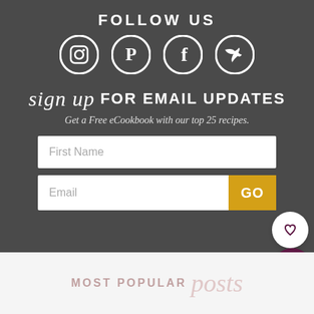FOLLOW US
[Figure (illustration): Four social media icons in white circles: Instagram, Pinterest, Facebook, Twitter]
sign up FOR EMAIL UPDATES
Get a Free eCookbook with our top 25 recipes.
[Figure (other): First Name input field (white text input box)]
[Figure (other): Email input field with GO button (yellow/gold)]
[Figure (other): Heart icon button (white circle) and search icon button (dark purple circle)]
MOST POPULAR posts